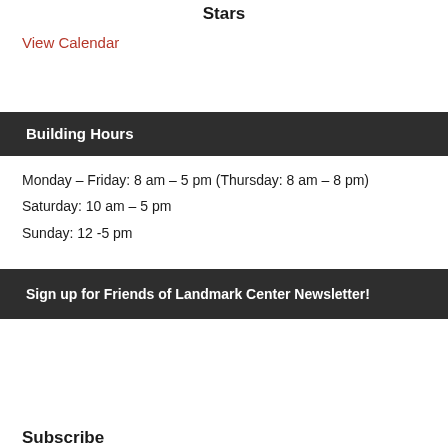Stars
View Calendar
Building Hours
Monday – Friday: 8 am – 5 pm (Thursday: 8 am – 8 pm)
Saturday: 10 am – 5 pm
Sunday: 12 -5 pm
Sign up for Friends of Landmark Center Newsletter!
Subscribe